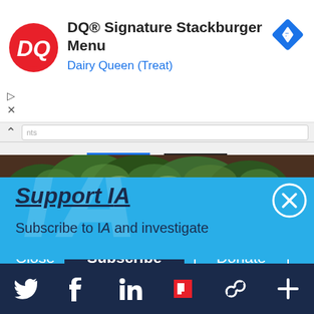[Figure (screenshot): DQ Dairy Queen advertisement banner showing DQ logo, text 'DQ® Signature Stackburger Menu' and 'Dairy Queen (Treat)', with navigation arrow icon]
[Figure (photo): Photo of dark green leafy vegetables (kale/silverbeet) at a market]
Support IA
Subscribe to IA and investigate Australia today.
[Figure (screenshot): Blue subscription panel with Close, Subscribe, and Donate buttons, X close button, and watermark IA logo. Bottom dark navigation bar with social media icons: Twitter, Facebook, LinkedIn, Flipboard, share, and plus.]